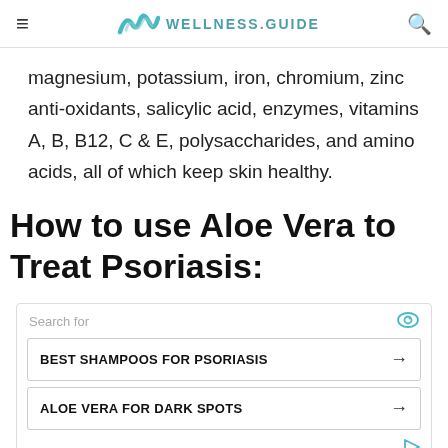WELLNESS.GUIDE
magnesium, potassium, iron, chromium, zinc anti-oxidants, salicylic acid, enzymes, vitamins A, B, B12, C & E, polysaccharides, and amino acids, all of which keep skin healthy.
How to use Aloe Vera to Treat Psoriasis:
Search for
BEST SHAMPOOS FOR PSORIASIS
ALOE VERA FOR DARK SPOTS